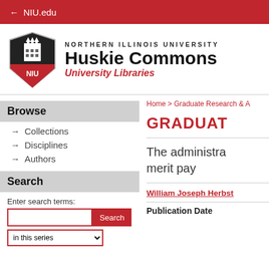← NIU.edu
[Figure (logo): Northern Illinois University NIU shield logo with building illustration]
NORTHERN ILLINOIS UNIVERSITY Huskie Commons University Libraries
Home > Graduate Research & A
Browse
→ Collections
→ Disciplines
→ Authors
Search
Enter search terms:
in this series
GRADUAT
The administration merit pay
William Joseph Herbst
Publication Date